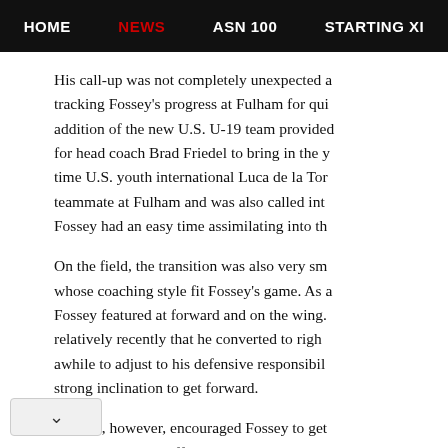HOME | NEWS | ASN 100 | STARTING XI
His call-up was not completely unexpected a tracking Fossey's progress at Fulham for qui addition of the new U.S. U-19 team provided for head coach Brad Friedel to bring in the y time U.S. youth international Luca de la Tor teammate at Fulham and was also called int Fossey had an easy time assimilating into th
On the field, the transition was also very sm whose coaching style fit Fossey's game. As a Fossey featured at forward and on the wing. relatively recently that he converted to righ awhile to adjust to his defensive responsibil strong inclination to get forward.
Friedel, however, encouraged Fossey to get to be a dangerous offensive weapon. He rick